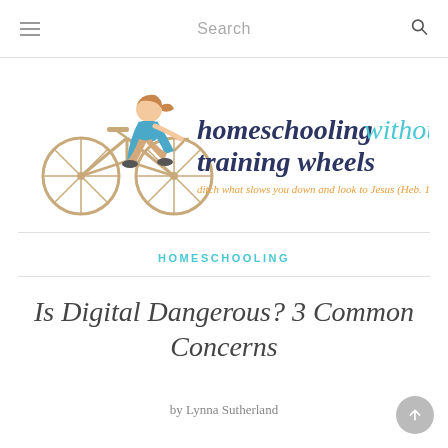Search
[Figure (logo): Homeschooling Without Training Wheels blog logo — girl riding bicycle, text 'homeschooling without training wheels' in dark navy and cyan script, subtitle 'ditch what slows you down and look to Jesus (Heb. 12:1-2.)' in orange handwritten style]
HOMESCHOOLING
Is Digital Dangerous? 3 Common Concerns
by Lynna Sutherland